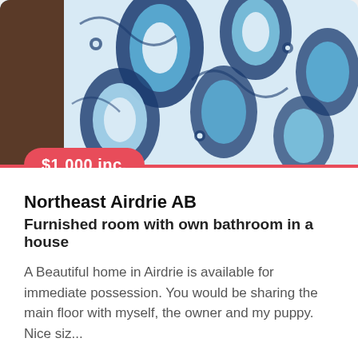[Figure (photo): Photo of a bed with blue and white paisley patterned bedding/pillows]
$1,000 inc.
Northeast Airdrie AB
Furnished room with own bathroom in a house
A Beautiful home in Airdrie is available for immediate possession. You would be sharing the main floor with myself, the owner and my puppy. Nice siz...
Room near: Southeast Airdrie, Airdrie AB, Airdrie Meadows S...
Coffee, tea & brunch, including grab-&-go sandwiches, served in a laid-back, modern environment.
Dine-in · Curbside pickup · No-contact delivery